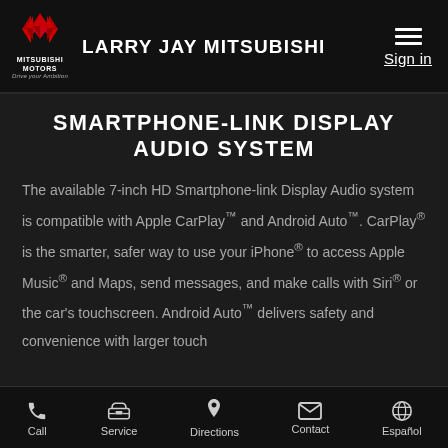LARRY JAY MITSUBISHI
SMARTPHONE-LINK DISPLAY AUDIO SYSTEM
The available 7-inch HD Smartphone-link Display Audio system is compatible with Apple CarPlay™ and Android Auto™. CarPlay® is the smarter, safer way to use your iPhone® to access Apple Music® and Maps, send messages, and make calls with Siri® or the car's touchscreen. Android Auto™ delivers safety and convenience with larger touch
Call | Service | Directions | Contact | Español